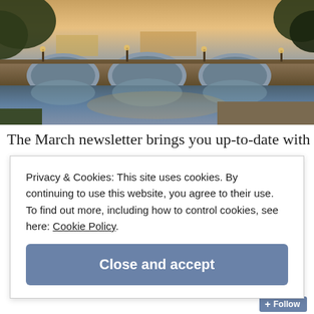[Figure (photo): Photograph of a stone bridge with arches reflecting in calm river water, trees with bare winter branches visible, warm late-afternoon light.]
The March newsletter brings you up-to-date with
Privacy & Cookies: This site uses cookies. By continuing to use this website, you agree to their use.
To find out more, including how to control cookies, see here: Cookie Policy
Close and accept
Follow